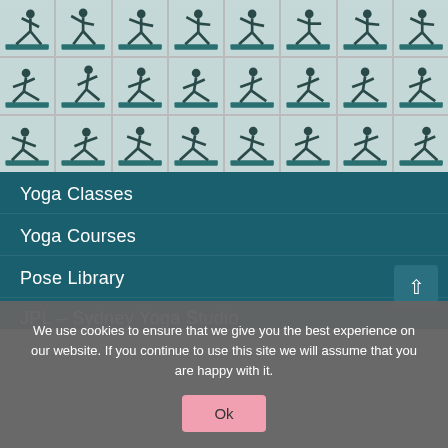[Figure (photo): Grid of yoga pose photos showing a person in various warrior/lunge yoga poses on a teal mat, arranged in 3 rows of 8 images each]
Yoga Classes
Yoga Courses
Pose Library
JPL – Sydney Yoga Studio
We use cookies to ensure that we give you the best experience on our website. If you continue to use this site we will assume that you are happy with it.